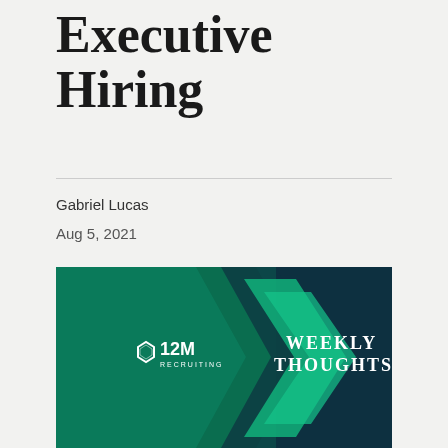Executive Hiring
Gabriel Lucas
Aug 5, 2021
[Figure (illustration): 12M Recruiting Weekly Thoughts banner with dark teal and green chevron arrows on a dark navy background. Logo on left with hexagon icon and '12M RECRUITING' text. 'WEEKLY THOUGHTS' text on the right in bold white serif font.]